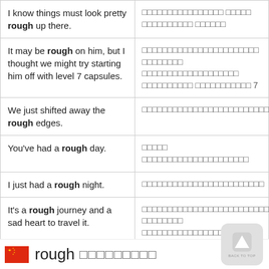| I know things must look pretty rough up there. | □□□□□□□□□□□□□□□□ □□□□□ □□□□□□□□□□ □□□□□□ |
| It may be rough on him, but I thought we might try starting him off with level 7 capsules. | □□□□□□□□□□□□□□□□□□□□□□□ □□□□□□□□ □□□□□□□□□□□□□□□□□□□ □□□□□□□□□□ □□□□□□□□□□□ 7 |
| We just shifted away the rough edges. | □□□□□□□□□□□□□□□□□□□□□□□□□□□□□□□□□□□□□□□□□□ |
| You've had a rough day. | □□□□□ □□□□□□□□□□□□□□□□□□□□□ |
| I just had a rough night. | □□□□□□□□□□□□□□□□□□□□□□□□ |
| It's a rough journey and a sad heart to travel it. | □□□□□□□□□□□□□□□□□□□□□□□□□ □□□□□□□□ □□□□□□□□□□□□□□□□ |
| You've had a rough day today. | □□□□□□□□□□□□□□□□□□□□□ |
rough □□□□□□□□□